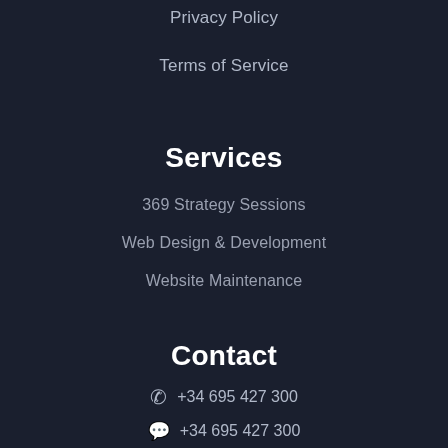Privacy Policy
Terms of Service
Services
369 Strategy Sessions
Web Design & Development
Website Maintenance
Contact
+34 695 427 300
+34 695 427 300